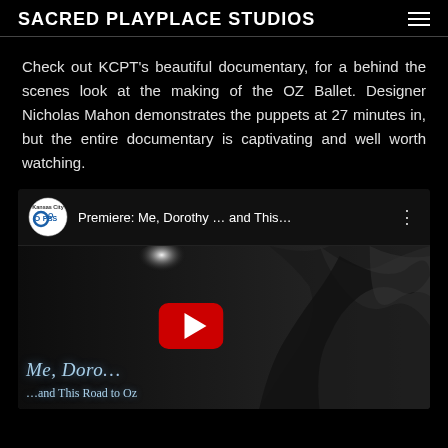SACRED PLAYPLACE STUDIOS
Check out KCPT's beautiful documentary, for a behind the scenes look at the making of the OZ Ballet. Designer Nicholas Mahon demonstrates the puppets at 27 minutes in, but the entire documentary is captivating and well worth watching.
[Figure (screenshot): YouTube video thumbnail for 'Premiere: Me, Dorothy ... and This...' with Kansas City PBS logo. Shows a black and white photo of a dancer in costume on the right side and the YouTube play button in the center. Text 'Me, Doro...' and '...and This Road to Oz' visible at the bottom left.]